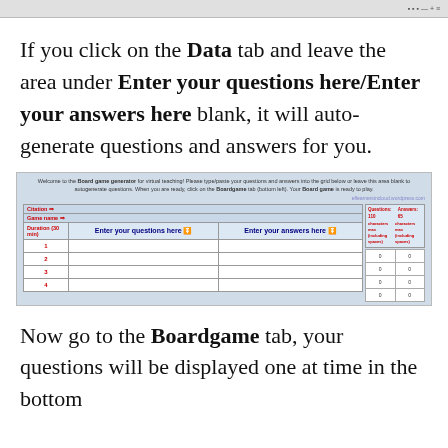[browser toolbar]
If you click on the Data tab and leave the area under Enter your questions here/Enter your answers here blank, it will auto-generate questions and answers for you.
[Figure (screenshot): Screenshot of a Board game generator spreadsheet with columns for entering questions and answers, showing numbered rows 1-4 and a side panel with character counts.]
Now go to the Boardgame tab, your questions will be displayed one at time in the bottom